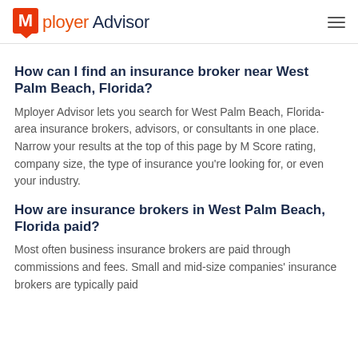Mployer Advisor
How can I find an insurance broker near West Palm Beach, Florida?
Mployer Advisor lets you search for West Palm Beach, Florida-area insurance brokers, advisors, or consultants in one place. Narrow your results at the top of this page by M Score rating, company size, the type of insurance you're looking for, or even your industry.
How are insurance brokers in West Palm Beach, Florida paid?
Most often business insurance brokers are paid through commissions and fees. Small and mid-size companies' insurance brokers are typically paid